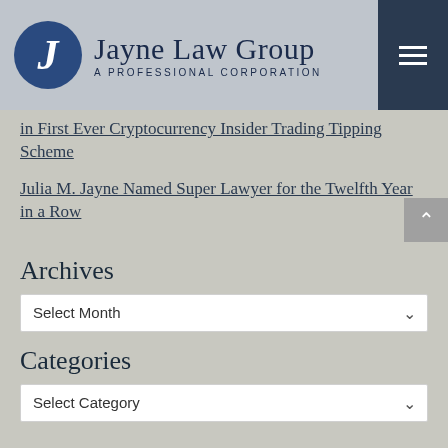Jayne Law Group — A PROFESSIONAL CORPORATION
in First Ever Cryptocurrency Insider Trading Tipping Scheme
Julia M. Jayne Named Super Lawyer for the Twelfth Year in a Row
Archives
Select Month
Categories
Select Category